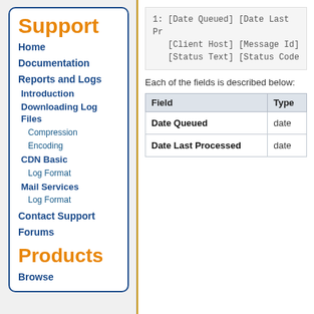Support
Home
Documentation
Reports and Logs
Introduction
Downloading Log Files
Compression
Encoding
CDN Basic
Log Format
Mail Services
Log Format
Contact Support
Forums
Products
Browse
1: [Date Queued] [Date Last Pr
   [Client Host] [Message Id]
   [Status Text] [Status Code
Each of the fields is described below:
| Field | Type |
| --- | --- |
| Date Queued | date |
| Date Last Processed | date |